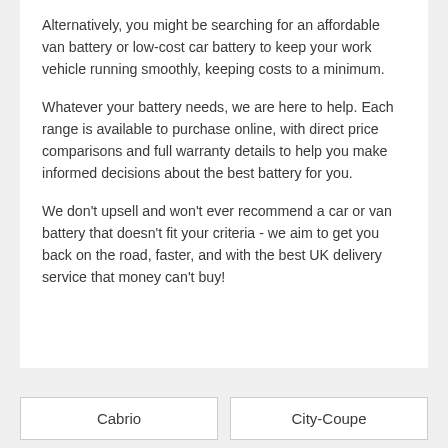Alternatively, you might be searching for an affordable van battery or low-cost car battery to keep your work vehicle running smoothly, keeping costs to a minimum.
Whatever your battery needs, we are here to help. Each range is available to purchase online, with direct price comparisons and full warranty details to help you make informed decisions about the best battery for you.
We don't upsell and won't ever recommend a car or van battery that doesn't fit your criteria - we aim to get you back on the road, faster, and with the best UK delivery service that money can't buy!
Cabrio
City-Coupe